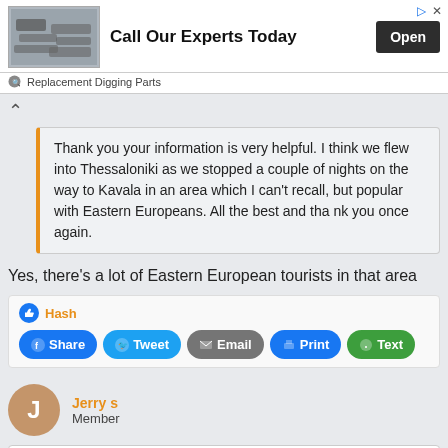[Figure (screenshot): Advertisement banner for Replacement Digging Parts with text 'Call Our Experts Today' and an Open button]
Thank you your information is very helpful. I think we flew into Thessaloniki as we stopped a couple of nights on the way to Kavala in an area which I can't recall, but popular with Eastern Europeans. All the best and tha nk you once again.
Yes, there's a lot of Eastern European tourists in that area
Hash
Share Tweet Email Print Text
Jerry s
Member
#9 • Sep 19, 2021